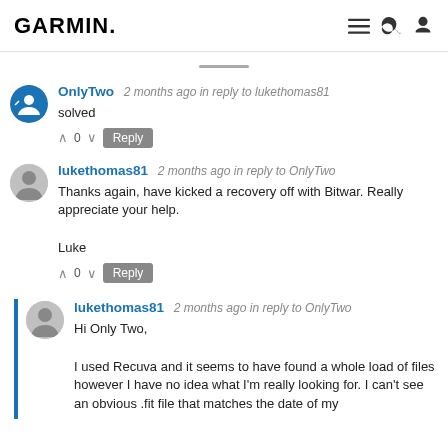GARMIN.
OnlyTwo  2 months ago in reply to lukethomas81
solved
lukethomas81  2 months ago in reply to OnlyTwo
Thanks again, have kicked a recovery off with Bitwar. Really appreciate your help.

Luke
lukethomas81  2 months ago in reply to OnlyTwo
Hi Only Two,

I used Recuva and it seems to have found a whole load of files however I have no idea what I'm really looking for. I can't see an obvious .fit file that matches the date of my